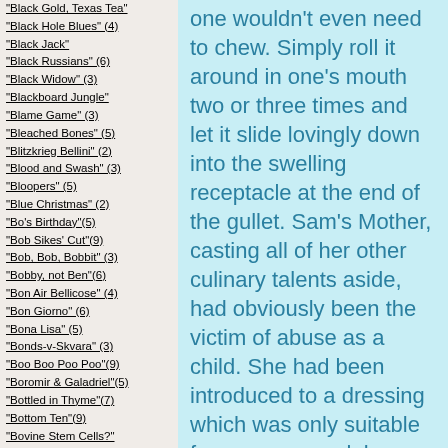"Black Gold, Texas Tea"
"Black Hole Blues" (4)
"Black Jack"
"Black Russians" (6)
"Black Widow" (3)
"Blackboard Jungle"
"Blame Game" (3)
"Bleached Bones" (5)
"Blitzkrieg Bellini" (2)
"Blood and Swash" (3)
"Bloopers" (5)
"Blue Christmas" (2)
"Bo's Birthday"(5)
"Bob Sikes' Cut"(9)
"Bob, Bob, Bobbit" (3)
"Bobby, not Ben"(6)
"Bon Air Bellicose" (4)
"Bon Giorno" (6)
"Bona Lisa" (5)
"Bonds-v-Skvara" (3)
"Boo Boo Poo Poo"(9)
"Boromir & Galadriel"(5)
"Bottled in Thyme"(7)
"Bottom Ten"(9)
"Bovine Stem Cells?"
"Boy, I Say Boy"
"Boycott BP"
"Breaker, Breaker" (4)
one wouldn't even need to chew. Simply roll it around in one's mouth two or three times and let it slide lovingly down into the swelling receptacle at the end of the gullet. Sam's Mother, casting all of her other culinary talents aside, had obviously been the victim of abuse as a child. She had been introduced to a dressing which was only suitable for use as a puck by teams in the National Hockey League.
Annually, at Thanksgiving dinner, and for the remaining meals in that time period, Frodo was confronted by the presence of a hockey puck immediately adjacent to the